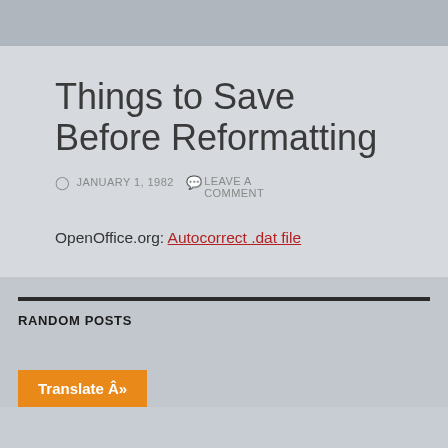Things to Save Before Reformatting
JANUARY 1, 1982   LEAVE A COMMENT
OpenOffice.org: Autocorrect .dat file
RANDOM POSTS
Translate Â»